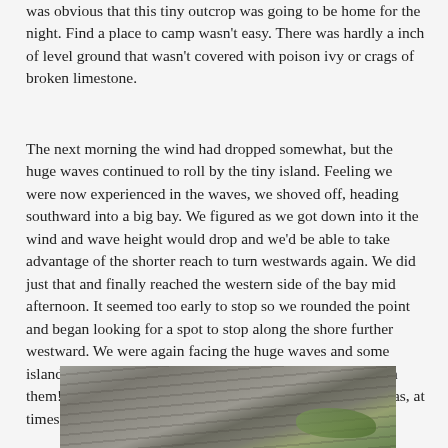was obvious that this tiny outcrop was going to be home for the night. Find a place to camp wasn't easy. There was hardly a inch of level ground that wasn't covered with poison ivy or crags of broken limestone.
The next morning the wind had dropped somewhat, but the huge waves continued to roll by the tiny island. Feeling we were now experienced in the waves, we shoved off, heading southward into a big bay. We figured as we got down into it the wind and wave height would drop and we'd be able to take advantage of the shorter reach to turn westwards again. We did just that and finally reached the western side of the bay mid afternoon. It seemed too early to stop so we rounded the point and began looking for a spot to stop along the shore further westward. We were again facing the huge waves and some islands marked on the chart were completely awash beneath them! Staying within sight of each other wasn't easy either as, at times, our kayaks would be invisible in the waves.
[Figure (photo): A photo showing rocky limestone surface with grass or vegetation growing in cracks, viewed from close up.]